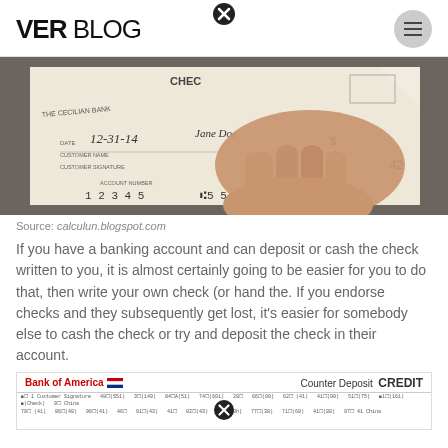VER BLOG
[Figure (photo): Photo of a hand holding a bank check from The Cecilian Bank dated 12-31-14, with fields for Customer Name (Jane Doe), Customer Signature, Account Number (12345), and routing number (555550). The check shows amount field with $ sign and number 42.]
Source: calculun.blogspot.com
If you have a banking account and can deposit or cash the check written to you, it is almost certainly going to be easier for you to do that, then write your own check (or hand the. If you endorse checks and they subsequently get lost, it's easier for somebody else to cash the check or try and deposit the check in their account.
[Figure (photo): Partial view of a Bank of America Counter Deposit CREDIT slip showing rows of transaction data fields.]